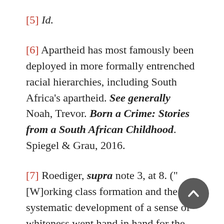[5] Id.
[6] Apartheid has most famously been deployed in more formally entrenched racial hierarchies, including South Africa’s apartheid. See generally Noah, Trevor. Born a Crime: Stories from a South African Childhood. Spiegel & Grau, 2016.
[7] Roediger, supra note 3, at 8. (“[W]orking class formation and the systematic development of a sense of whiteness went hand in hand for the US white working class.”).
[8] Dahlum, Sirianne, et al. “We Checked 100 Years of Protests in 150 Countries. Here’s What